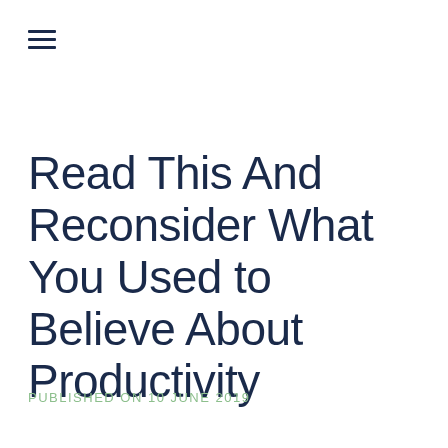[Figure (other): Hamburger menu icon with three horizontal lines]
Read This And Reconsider What You Used to Believe About Productivity
PUBLISHED ON 10 JUNE 2019